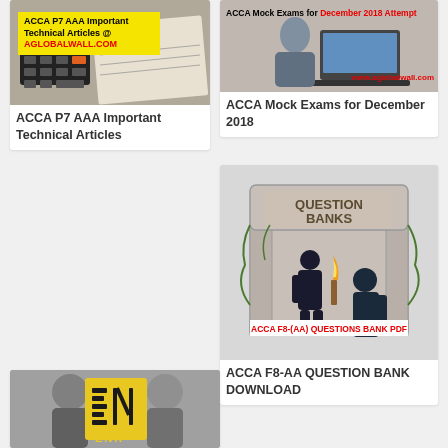[Figure (photo): Image showing calculator and papers with overlay text 'ACCA P7 AAA Important Technical Articles @ AGLOBALWALL.COM' on yellow background]
ACCA P7 AAA Important Technical Articles
[Figure (photo): Image showing person at laptop with overlay text 'ACCA Mock Exams for December 2018 Attempt' and 'www.aglobalwall.com']
ACCA Mock Exams for December 2018
[Figure (illustration): Illustration of a stone building with 'QUESTION BANKS' text, two silhouetted figures, torch/flame, and red banner 'ACCA F8-(AA) QUESTIONS BANK PDF']
ACCA F8-AA QUESTION BANK DOWNLOAD
[Figure (photo): Image showing two people in background with Enron logo tile (yellow with E and N letters) in foreground, partially showing 'ENR']